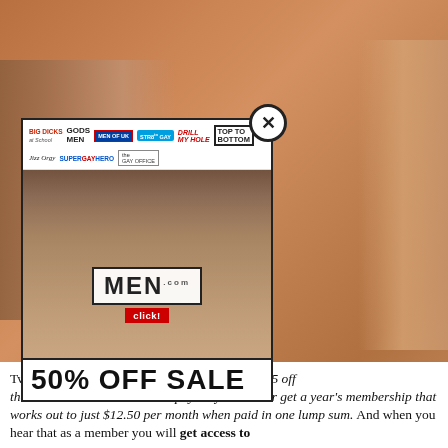[Figure (photo): Background photo showing people, partially obscured by popup overlay]
[Figure (screenshot): Popup advertisement for MEN.com showing brand logos (Big Dicks at School, Gods of Men, Men of UK, Str8 to Gay, Drill My Hole, Top to Bottom, Jizz Orgy, Super Gay Hero, The Gay Office), a group photo of five men, the MEN.com logo with click button, and a 50% OFF SALE banner]
Two Thai [obscured by popup] w! Take $5 off the [obscured] pay only $24.95 or get a year's membership that works out to just $12.50 per month when paid in one lump sum. And when you hear that as a member you will get access to